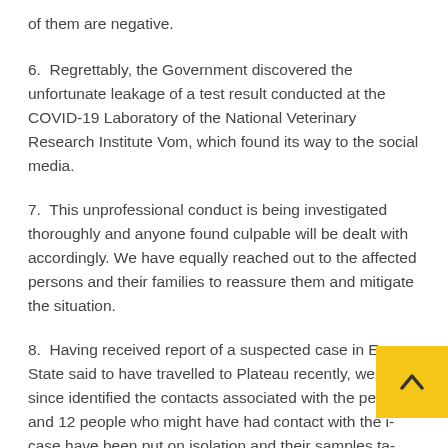of them are negative.
6.  Regrettably, the Government discovered the unfortunate leakage of a test result conducted at the COVID-19 Laboratory of the National Veterinary Research Institute Vom, which found its way to the social media.
7.  This unprofessional conduct is being investigated thoroughly and anyone found culpable will be dealt with accordingly. We have equally reached out to the affected persons and their families to reassure them and mitigate the situation.
8.  Having received report of a suspected case in Enugu State said to have travelled to Plateau recently, we have since identified the contacts associated with the person and 12 people who might have had contact with the case have been put on isolation and their samples ta Results are being awaited.